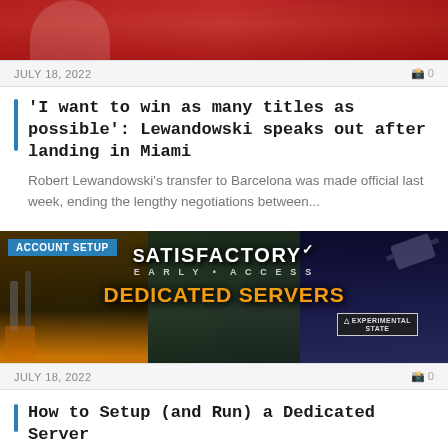[Figure (photo): Sports photo showing person in red jersey, partially cropped]
JULY 18, 2022    0
'I want to win as many titles as possible': Lewandowski speaks out after landing in Miami
Robert Lewandowski's transfer to Barcelona was made official last week, ending the lengthy negotiations between...
[Figure (screenshot): Satisfactory Early Access Dedicated Servers promotional image with ACCOUNT SETUP badge]
JULY 18, 2022    0
How to Setup (and Run) a Dedicated Server